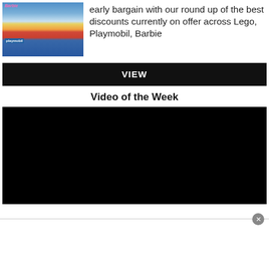[Figure (photo): Toy store shelf photo showing Playmobil and Barbie products]
early bargain with our round up of the best discounts currently on offer across Lego, Playmobil, Barbie
VIEW
Video of the Week
[Figure (screenshot): Black video player placeholder]
[Figure (other): Advertisement overlay with close button]